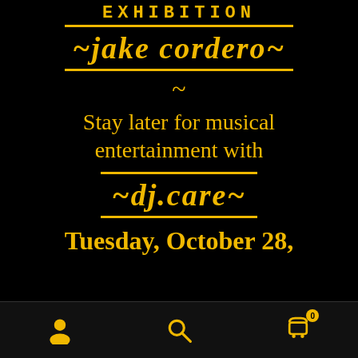EXHIBITION
~*jake cordero*~
~
Stay later for musical entertainment with
~ dj.care ~
Tuesday, October 28,
[Figure (infographic): Mobile app bottom navigation bar with person/account icon, search magnifying glass icon, and shopping cart icon with badge showing 0]